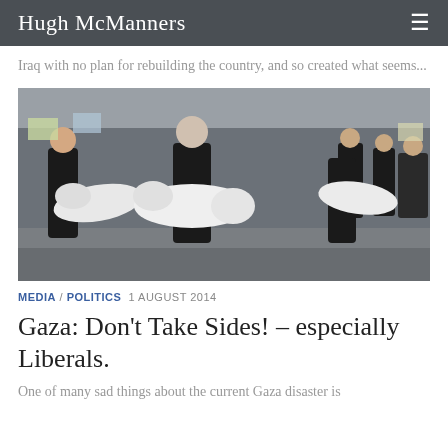Hugh McManners
Iraq with no plan for rebuilding the country, and so created what seems...
[Figure (photo): Protest scene with people dressed in black carrying white-shrouded figures resembling bodies, with protest signs visible in the background]
MEDIA / POLITICS  1 AUGUST 2014
Gaza: Don't Take Sides! – especially Liberals.
One of many sad things about the current Gaza disaster is